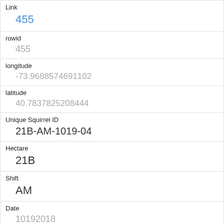| Field | Value |
| --- | --- |
| Link | 455 |
| rowid | 455 |
| longitude | -73.9688574691102 |
| latitude | 40.7837825208444 |
| Unique Squirrel ID | 21B-AM-1019-04 |
| Hectare | 21B |
| Shift | AM |
| Date | 10192018 |
| Hectare Squirrel Number | 4 |
| Age |  |
| Primary Fur Color |  |